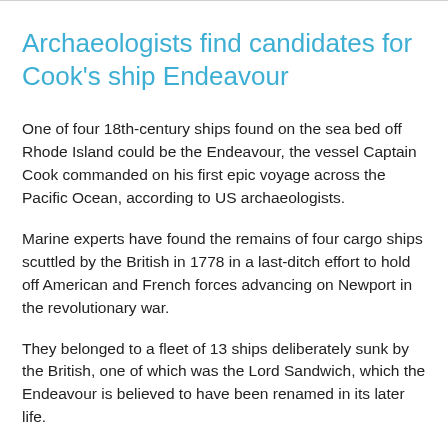Archaeologists find candidates for Cook's ship Endeavour
One of four 18th-century ships found on the sea bed off Rhode Island could be the Endeavour, the vessel Captain Cook commanded on his first epic voyage across the Pacific Ocean, according to US archaeologists.
Marine experts have found the remains of four cargo ships scuttled by the British in 1778 in a last-ditch effort to hold off American and French forces advancing on Newport in the revolutionary war.
They belonged to a fleet of 13 ships deliberately sunk by the British, one of which was the Lord Sandwich, which the Endeavour is believed to have been renamed in its later life.
Read the rest of this article...